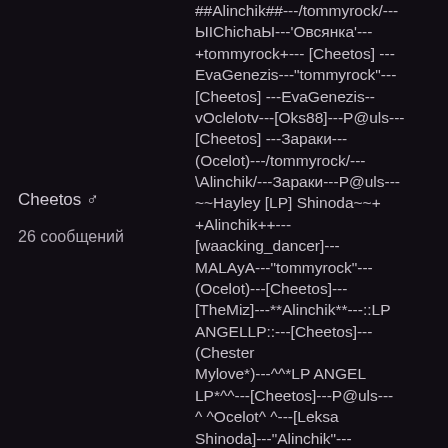Cheetos ♂
26 сообщений
##Alinchik##---/tommyrock/---ЫIChichaЫ---'Овсянка'---+tommyrock+--- [Cheetos] ---EvaGenezis---"tommyrock"---[Cheetos] ---EvaGenezis--vOclelotv---[Oks88]---P@uls---[Cheetos] ---Зараки---(Ocelot)---/tommyrock/---\Alinchik/---Зараки---P@uls---~~Hayley [LP] Shinoda~~+ +Alinchik++---[waacking_dancer]---MALAyA---"tommyrock"---(Ocelot)---[Cheetos]---[TheMiz]---**Alinchik**---::LP ANGELLP::---[Cheetos]---(Chester Mylove*)---^^*LP ANGEL LP*^^---[Cheetos]---P@uls---^ ^Ocelot^ ^---[Leksa Shinoda]---"Alinchik"---[...Blackout...] --- [Cheetos] ---